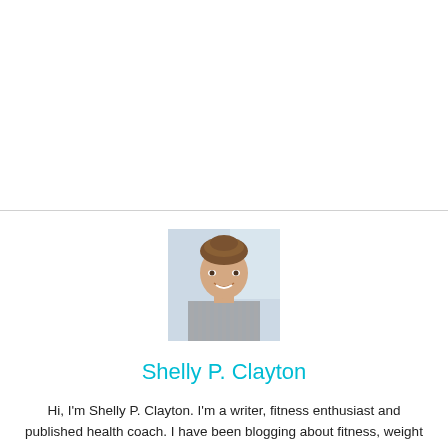[Figure (photo): Headshot photo of a smiling young woman with hair pulled back, wearing a striped top, against a light blurred background.]
Shelly P. Clayton
Hi, I'm Shelly P. Clayton. I'm a writer, fitness enthusiast and published health coach. I have been blogging about fitness, weight loss and lifestyle for over 7 years. I will share my experience and